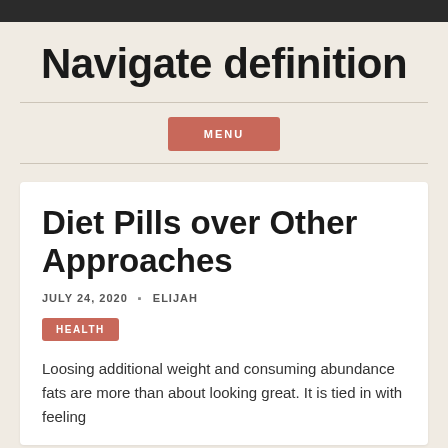Navigate definition
MENU
Diet Pills over Other Approaches
JULY 24, 2020 · ELIJAH
HEALTH
Loosing additional weight and consuming abundance fats are more than about looking great. It is tied in with feeling